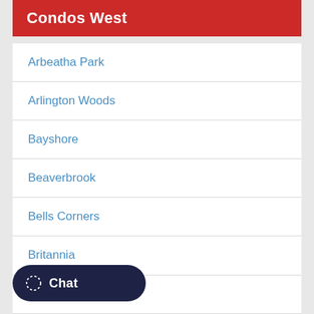Condos West
Arbeatha Park
Arlington Woods
Bayshore
Beaverbrook
Bells Corners
Britannia
Britannia Heights
Bridlewood